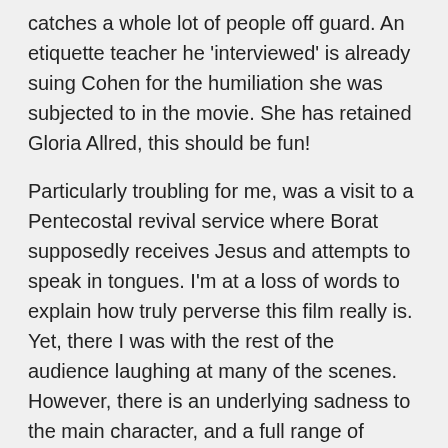catches a whole lot of people off guard.  An etiquette teacher he 'interviewed' is already suing Cohen for the humiliation she was subjected to in the movie.  She has retained Gloria Allred, this should be fun!
Particularly troubling for me, was a visit to a Pentecostal revival service where Borat supposedly receives Jesus and attempts to speak in tongues.  I'm at a loss of words to explain how truly perverse this film really is.  Yet, there I was with the rest of the audience laughing at many of the scenes. However, there is an underlying sadness to the main character, and a full range of emotions is necessary to get you through to the end.  I cannot recommend this film to anyone, but it seems to be playing well in the big cities and in 'blue states', not so well in Middle America and the South.
*Top